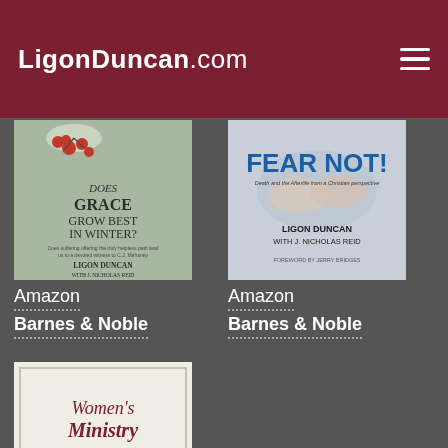LigonDuncan.com
[Figure (illustration): Book cover: Does Grace Grow Best in Winter? by Ligon Duncan]
Amazon
Barnes & Noble
[Figure (illustration): Book cover: Fear Not! Death and the Afterlife from a Christian Perspective by Ligon Duncan with J. Nicholas Reid, Foreword by Jerry Bridges]
Amazon
Barnes & Noble
[Figure (illustration): Book cover: Women's Ministry (partially visible)]